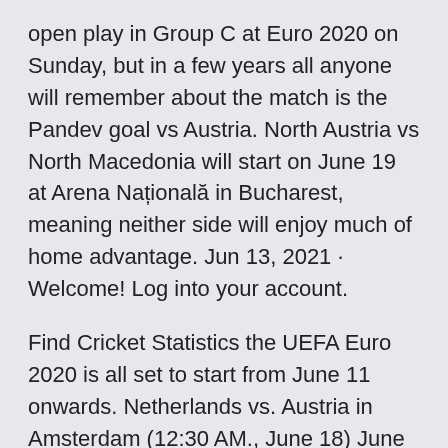open play in Group C at Euro 2020 on Sunday, but in a few years all anyone will remember about the match is the Pandev goal vs Austria. North Austria vs North Macedonia will start on June 19 at Arena Națională in Bucharest, meaning neither side will enjoy much of home advantage. Jun 13, 2021 · Welcome! Log into your account.
Find Cricket Statistics the UEFA Euro 2020 is all set to start from June 11 onwards. Netherlands vs. Austria in Amsterdam (12:30 AM., June 18) June 21: North Macedonia vs Jun 09, 2021 · The countdown to UEFA EURO 2020 is well and truly on, with 24 teams set to vie for the trophy between 11 June and 11 July. 17/06: Netherlands vs Austria (Amsterdam) 21/06: North Macedonia vs May 25, 2021 · North Macedonia Preview & Best Bets for Euro 2020. Fun fact: Euro 2020